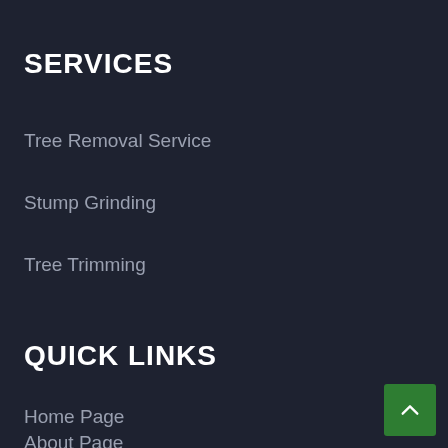SERVICES
Tree Removal Service
Stump Grinding
Tree Trimming
QUICK LINKS
Home Page
About Page